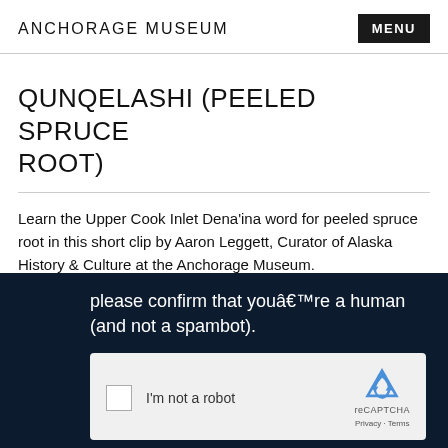ANCHORAGE MUSEUM | MENU
QUNQELASHI (PEELED SPRUCE ROOT)
Learn the Upper Cook Inlet Dena'ina word for peeled spruce root in this short clip by Aaron Leggett, Curator of Alaska History & Culture at the Anchorage Museum.
[Figure (screenshot): Dark navy background with white text: 'please confirm that youâ€™re a human (and not a spambot).' Below is a reCAPTCHA widget with a checkbox labeled 'I'm not a robot' and the reCAPTCHA logo with Privacy and Terms links.]